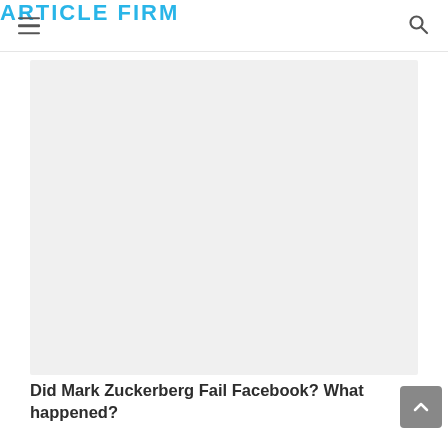ARTICLE FIRM
[Figure (other): Advertisement placeholder — large light grey rectangle]
Did Mark Zuckerberg Fail Facebook? What happened?